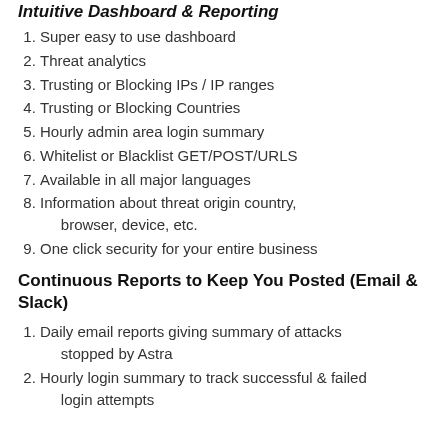Intuitive Dashboard & Reporting
Super easy to use dashboard
Threat analytics
Trusting or Blocking IPs / IP ranges
Trusting or Blocking Countries
Hourly admin area login summary
Whitelist or Blacklist GET/POST/URLS
Available in all major languages
Information about threat origin country, browser, device, etc.
One click security for your entire business
Continuous Reports to Keep You Posted (Email & Slack)
Daily email reports giving summary of attacks stopped by Astra
Hourly login summary to track successful & failed login attempts